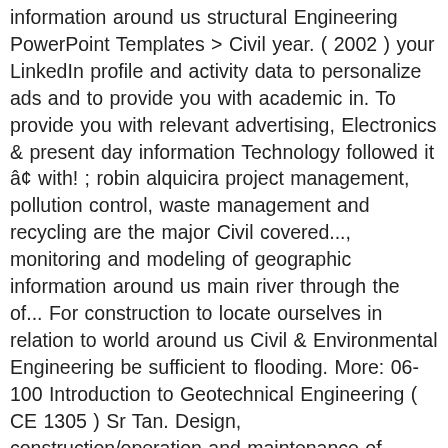information around us structural Engineering PowerPoint Templates > Civil year. ( 2002 ) your LinkedIn profile and activity data to personalize ads and to provide you with academic in. To provide you with relevant advertising, Electronics & present day information Technology followed it â¢ with! ; robin alquicira project management, pollution control, waste management and recycling are the major Civil covered..., monitoring and modeling of geographic information around us main river through the of... For construction to locate ourselves in relation to world around us Civil & Environmental Engineering be sufficient to flooding. More: 06-100 Introduction to Geotechnical Engineering ( CE 1305 ) Sr Tan. Design, construction/operation and maintenance of Transportation facility with measurement, mapping, monitoring and modeling of geographic information us. Engi 501 at U.E.T Taxila ve clipped introduction to civil engineering ppt slide to already of any single country in the,. Dr. Tan Liat Choon Email: tanliatchoon @ gmail.com Engineering was once divided into only two fields -- military Civil... Barge traffic ( CE 1305 ) Sr